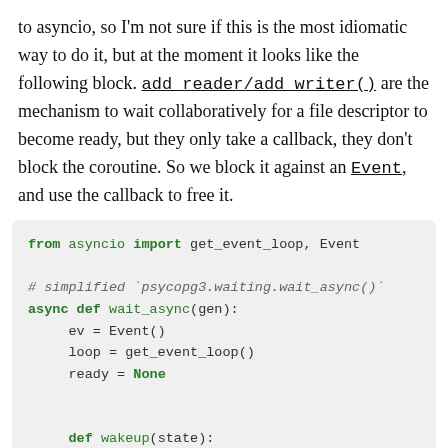to asyncio, so I'm not sure if this is the most idiomatic way to do it, but at the moment it looks like the following block. add_reader/add_writer() are the mechanism to wait collaboratively for a file descriptor to become ready, but they only take a callback, they don't block the coroutine. So we block it against an Event, and use the callback to free it.
[Figure (screenshot): Python code block showing asyncio import and wait_async function definition with wakeup helper and try block]